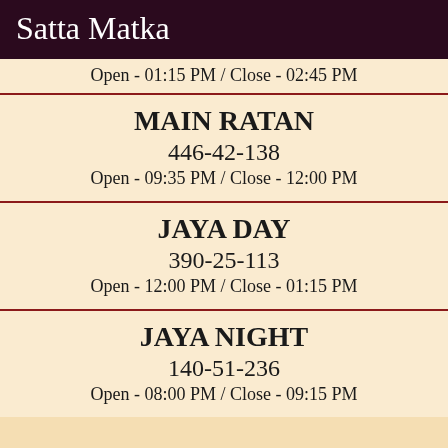Satta Matka
Open - 01:15 PM / Close - 02:45 PM
MAIN RATAN
446-42-138
Open - 09:35 PM / Close - 12:00 PM
JAYA DAY
390-25-113
Open - 12:00 PM / Close - 01:15 PM
JAYA NIGHT
140-51-236
Open - 08:00 PM / Close - 09:15 PM